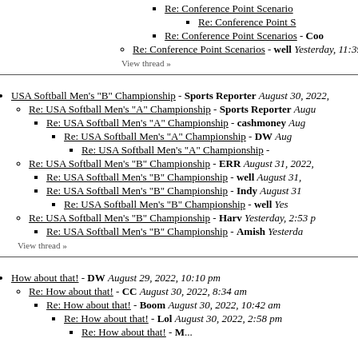Re: Conference Point Scenarios
Re: Conference Point S
Re: Conference Point Scenarios - Coo
Re: Conference Point Scenarios - well Yesterday, 11:39 am
View thread »
USA Softball Men's "B" Championship - Sports Reporter August 30, 2022,
Re: USA Softball Men's "A" Championship - Sports Reporter Augu
Re: USA Softball Men's "A" Championship - cashmoney Aug
Re: USA Softball Men's "A" Championship - DW Aug
Re: USA Softball Men's "A" Championship -
Re: USA Softball Men's "B" Championship - ERR August 31, 2022,
Re: USA Softball Men's "B" Championship - well August 31,
Re: USA Softball Men's "B" Championship - Indy August 31
Re: USA Softball Men's "B" Championship - well Yes
Re: USA Softball Men's "B" Championship - Harv Yesterday, 2:53 p
Re: USA Softball Men's "B" Championship - Amish Yesterda
View thread »
How about that! - DW August 29, 2022, 10:10 pm
Re: How about that! - CC August 30, 2022, 8:34 am
Re: How about that! - Boom August 30, 2022, 10:42 am
Re: How about that! - Lol August 30, 2022, 2:58 pm
Re: How about that! - M...